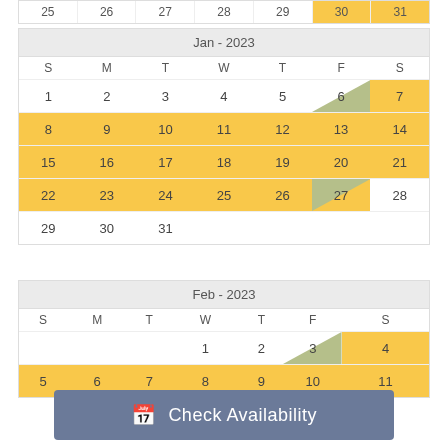| S | M | T | W | T | F | S |
| --- | --- | --- | --- | --- | --- | --- |
| 25 | 26 | 27 | 28 | 29 | 30 | 31 |
| S | M | T | W | T | F | S |
| --- | --- | --- | --- | --- | --- | --- |
| 1 | 2 | 3 | 4 | 5 | 6 | 7 |
| 8 | 9 | 10 | 11 | 12 | 13 | 14 |
| 15 | 16 | 17 | 18 | 19 | 20 | 21 |
| 22 | 23 | 24 | 25 | 26 | 27 | 28 |
| 29 | 30 | 31 |  |  |  |  |
| S | M | T | W | T | F | S |
| --- | --- | --- | --- | --- | --- | --- |
|  |  |  | 1 | 2 | 3 | 4 |
| 5 | 6 | 7 | 8 | 9 | 10 | 11 |
Check Availability